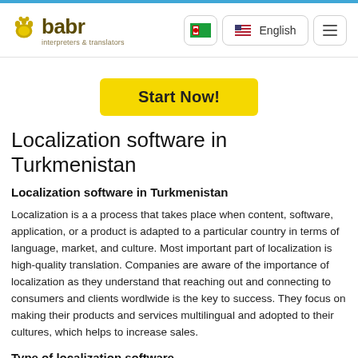babr interpreters & translators — English
Start Now!
Localization software in Turkmenistan
Localization software in Turkmenistan
Localization is a a process that takes place when content, software, application, or a product is adapted to a particular country in terms of language, market, and culture. Most important part of localization is high-quality translation. Companies are aware of the importance of localization as they understand that reaching out and connecting to consumers and clients wordlwide is the key to success. They focus on making their products and services multilingual and adopted to their cultures, which helps to increase sales.
Type of localization software